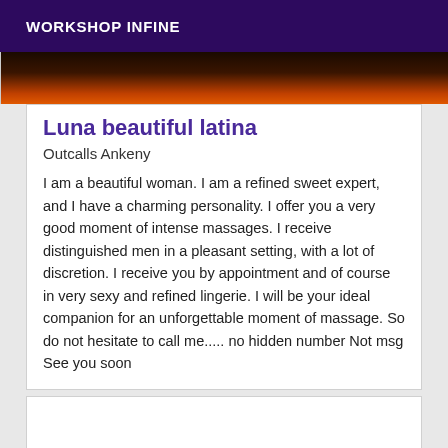WORKSHOP INFINE
[Figure (photo): Partial image of a person with warm orange/amber tones against a dark background]
Luna beautiful latina
Outcalls Ankeny
I am a beautiful woman. I am a refined sweet expert, and I have a charming personality. I offer you a very good moment of intense massages. I receive distinguished men in a pleasant setting, with a lot of discretion. I receive you by appointment and of course in very sexy and refined lingerie. I will be your ideal companion for an unforgettable moment of massage. So do not hesitate to call me..... no hidden number Not msg See you soon